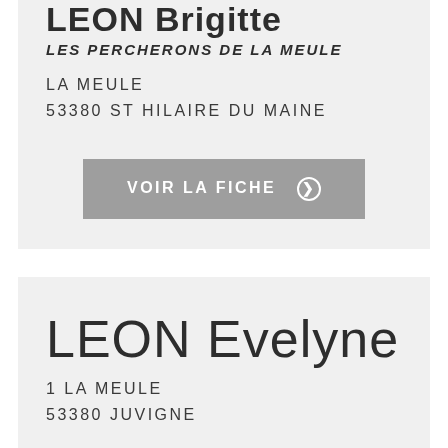LEON Brigitte
LES PERCHERONS DE LA MEULE
LA MEULE
53380 ST HILAIRE DU MAINE
VOIR LA FICHE
LEON Evelyne
1 LA MEULE
53380 JUVIGNE